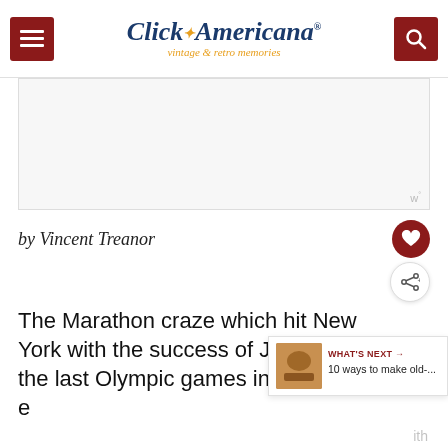Click Americana — vintage & retro memories
[Figure (other): Advertisement placeholder box with Wunderkind watermark]
by Vincent Treanor
The Marathon craze which hit New York with the success of John the last Olympic games in London and e...ith
[Figure (other): What's Next panel: 10 ways to make old-...]
[Figure (other): Advertisement banner: From Hello to Help, 211 is Here]